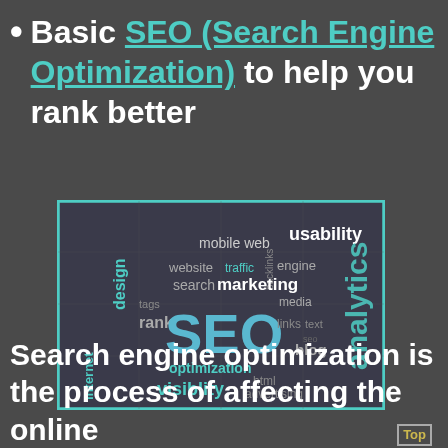Basic SEO (Search Engine Optimization) to help you rank better
[Figure (infographic): SEO word cloud showing terms: SEO (large, blue), analytics, usability, marketing, optimization, visiblity, mobile web, website, search, design, traffic, engine, backlinks, rank, tags, internet, blog, links, text, html, advertising, media]
Search engine optimization is the process of affecting the online